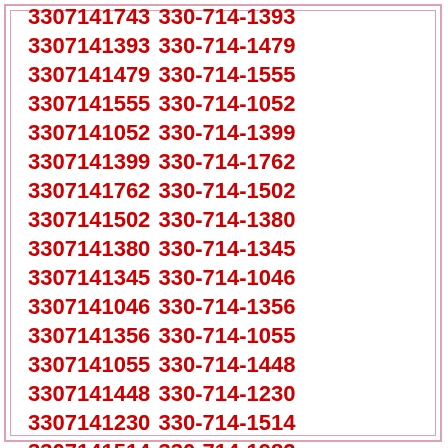3307141743 330-714-1393 3307141393 330-714-1479 3307141479 330-714-1555 3307141555 330-714-1052 3307141052 330-714-1399 3307141399 330-714-1762 3307141762 330-714-1502 3307141502 330-714-1380 3307141380 330-714-1345 3307141345 330-714-1046 3307141046 330-714-1356 3307141356 330-714-1055 3307141055 330-714-1448 3307141448 330-714-1230 3307141230 330-714-1514 3307141514 330-714-1982 3307141982 330-714-1045 3307141045 330-714-1959 3307141959 330-714-1724 3307141724 330-714-1939 3307141939 330-714-1512 3307141512 330-714-1638 3307141638 330-714-1940 3307141940 330-714-1688 3307141688 330-714-1631 3307141631 330-714-1371 3307141371 330-714-1480 3307141480 330-714-1460 3307141460 330-714-1363 3307141363 330-714-1442 3307141442 330-714-1820 3307141820 330-714-1163 3307141163 330-714-1114 3307141114 330-714-1776 3307141776 330-